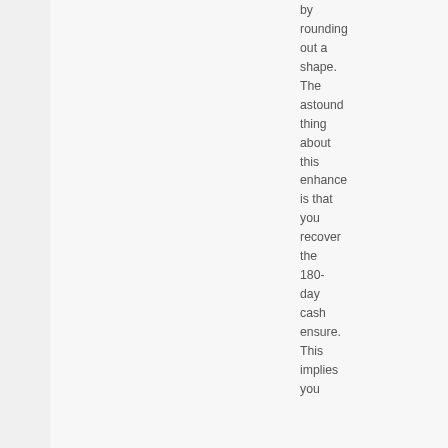by rounding out a shape. The astounding thing about this enhance is that you recover the 180-day cash ensure. This implies you